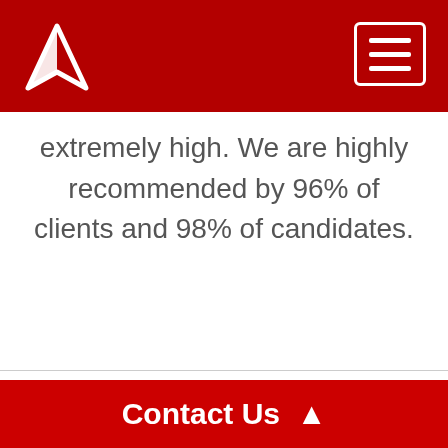extremely high. We are highly recommended by 96% of clients and 98% of candidates.
Tags
neuro
brain
nervous system
neurologist
neurosurgery